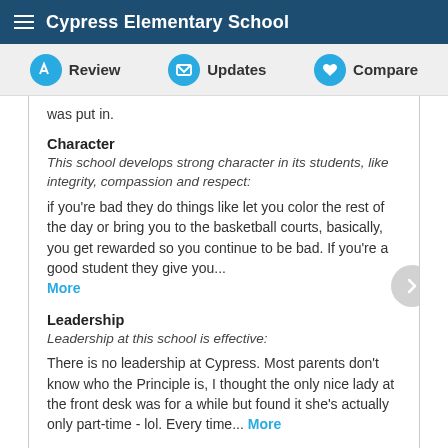Cypress Elementary School
Review | Updates | Compare
was put in.
Character
This school develops strong character in its students, like integrity, compassion and respect:
if you're bad they do things like let you color the rest of the day or bring you to the basketball courts, basically, you get rewarded so you continue to be bad. If you're a good student they give you... More
Leadership
Leadership at this school is effective:
There is no leadership at Cypress. Most parents don't know who the Principle is, I thought the only nice lady at the front desk was for a while but found it she's actually only part-time - lol. Every time... More